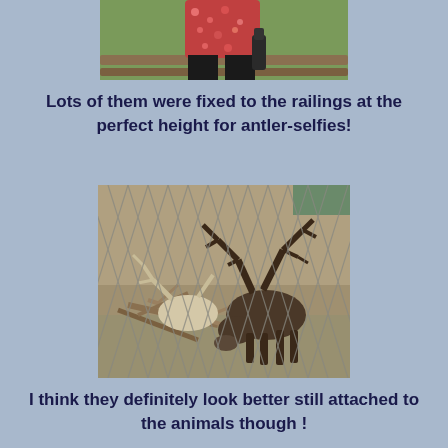[Figure (photo): Partial photo of a person in a red floral top and black pants standing near a wooden fence with green grass in background]
Lots of them were fixed to the railings at the perfect height for antler-selfies!
[Figure (photo): Photo of a reindeer with large antlers seen through a chain-link fence, bending its head down toward branches on the ground]
I think they definitely look better still attached to the animals though !